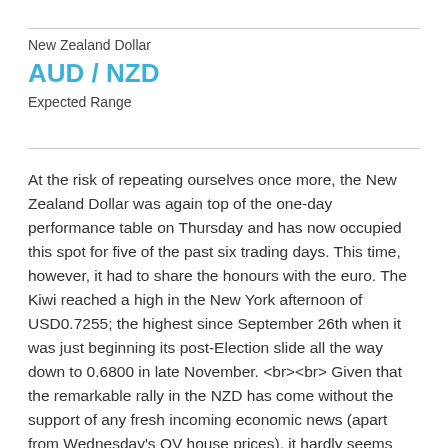New Zealand Dollar
AUD / NZD
Expected Range
At the risk of repeating ourselves once more, the New Zealand Dollar was again top of the one-day performance table on Thursday and has now occupied this spot for five of the past six trading days. This time, however, it had to share the honours with the euro. The Kiwi reached a high in the New York afternoon of USD0.7255; the highest since September 26th when it was just beginning its post-Election slide all the way down to 0.6800 in late November. <br><br> Given that the remarkable rally in the NZD has come without the support of any fresh incoming economic news (apart from Wednesday's QV house prices), it hardly seems relevant to highlight November building permits data later this morning. But, with investors lucky or smart enough to have been long of Kiwi during the recent run.